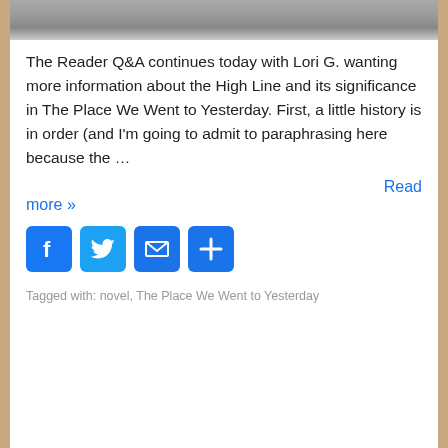[Figure (photo): Partial photo strip at top of phone card, showing a gray textured surface (appears to be a sidewalk or pavement)]
The Reader Q&A continues today with Lori G. wanting more information about the High Line and its significance in The Place We Went to Yesterday. First, a little history is in order (and I'm going to admit to paraphrasing here because the …
Read more »
[Figure (infographic): Four social sharing icon buttons: Facebook (f), Twitter (bird), Email (envelope), Share (+)]
Tagged with: novel, The Place We Went to Yesterday